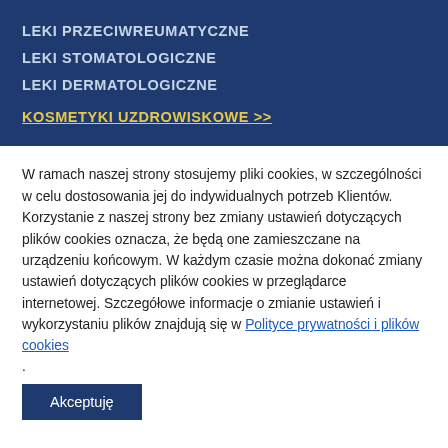LEKI PRZECIWREUMATYCZNE
LEKI STOMATOLOGICZNE
LEKI DERMATOLOGICZNE
KOSMETYKI UZDROWISKOWE >>
W ramach naszej strony stosujemy pliki cookies, w szczególności w celu dostosowania jej do indywidualnych potrzeb Klientów. Korzystanie z naszej strony bez zmiany ustawień dotyczących plików cookies oznacza, że będą one zamieszczane na urządzeniu końcowym. W każdym czasie można dokonać zmiany ustawień dotyczących plików cookies w przeglądarce internetowej. Szczegółowe informacje o zmianie ustawień i wykorzystaniu plików znajdują się w Polityce prywatności i plików cookies .
Akceptuję